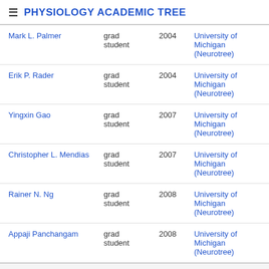≡ PHYSIOLOGY ACADEMIC TREE
| Name | Role | Year | Institution |
| --- | --- | --- | --- |
| Mark L. Palmer | grad student | 2004 | University of Michigan (Neurotree) |
| Erik P. Rader | grad student | 2004 | University of Michigan (Neurotree) |
| Yingxin Gao | grad student | 2007 | University of Michigan (Neurotree) |
| Christopher L. Mendias | grad student | 2007 | University of Michigan (Neurotree) |
| Rainer N. Ng | grad student | 2008 | University of Michigan (Neurotree) |
| Appaji Panchangam | grad student | 2008 | University of Michigan (Neurotree) |
Collaborators
Sign in to add collaborator
Added by: kkmcculh (2015-06-24 18:28:11) · Is someone missing from